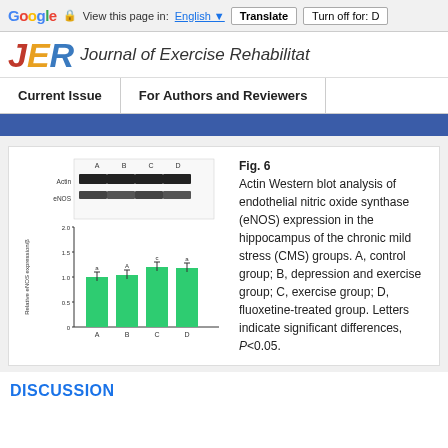Google  View this page in: English [▼]  Translate  Turn off for: D
JER  Journal of Exercise Rehabilitat
Current Issue  |  For Authors and Reviewers
[Figure (bar-chart): Western blot bands for Actin and eNOS shown above bar chart with 4 groups A, B, C, D. Green bars showing eNOS expression levels.]
Fig. 6 Actin Western blot analysis of endothelial nitric oxide synthase (eNOS) expression in the hippocampus of the chronic mild stress (CMS) groups. A, control group; B, depression and exercise group; C, exercise group; D, fluoxetine-treated group. Letters indicate significant differences, P<0.05.
DISCUSSION